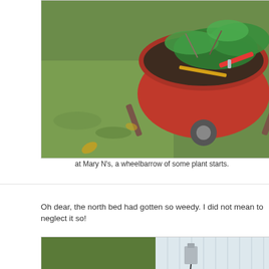[Figure (photo): A red wheelbarrow filled with green plant starts and tools on a grassy lawn background.]
at Mary N's, a wheelbarrow of some plant starts.
Oh dear, the north bed had gotten so weedy.  I did not mean to neglect it so!
[Figure (photo): A garden bed along a white siding wall of a house, with blue hydrangea flowers planted in the ground, surrounded by weedy green grass.]